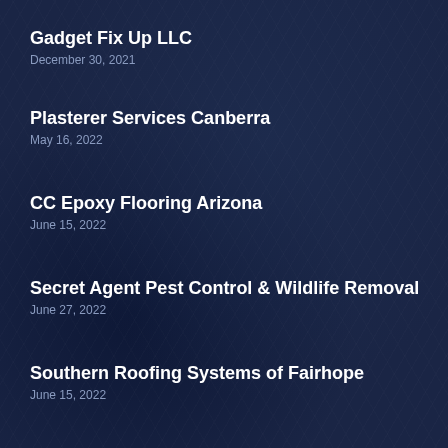Gadget Fix Up LLC
December 30, 2021
Plasterer Services Canberra
May 16, 2022
CC Epoxy Flooring Arizona
June 15, 2022
Secret Agent Pest Control & Wildlife Removal
June 27, 2022
Southern Roofing Systems of Fairhope
June 15, 2022